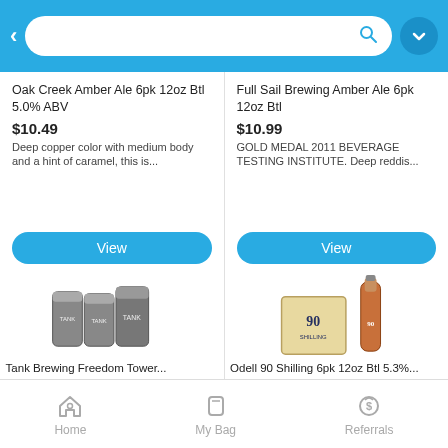[Figure (screenshot): Mobile app top navigation bar with back arrow, search bar with magnifying glass icon, and dropdown button on blue background]
Oak Creek Amber Ale 6pk 12oz Btl 5.0% ABV
$10.49
Deep copper color with medium body and a hint of caramel, this is...
View
Full Sail Brewing Amber Ale 6pk 12oz Btl
$10.99
GOLD MEDAL 2011 BEVERAGE TESTING INSTITUTE. Deep reddis...
View
[Figure (photo): Tank Brewing beer cans six pack]
Tank Brewing Freedom Tower...
[Figure (photo): Odell 90 Shilling beer bottles six pack]
Odell 90 Shilling 6pk 12oz Btl 5.3%...
[Figure (screenshot): Bottom navigation bar with Home, My Bag, and Referrals icons]